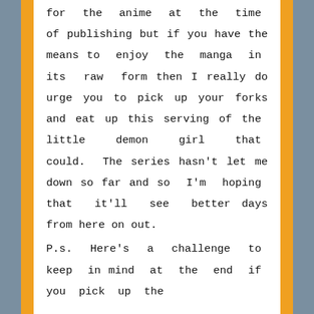for the anime at the time of publishing but if you have the means to enjoy the manga in its raw form then I really do urge you to pick up your forks and eat up this serving of the little demon girl that could. The series hasn't let me down so far and so I'm hoping that it'll see better days from here on out.

P.s. Here's a challenge to keep in mind at the end if you pick up the